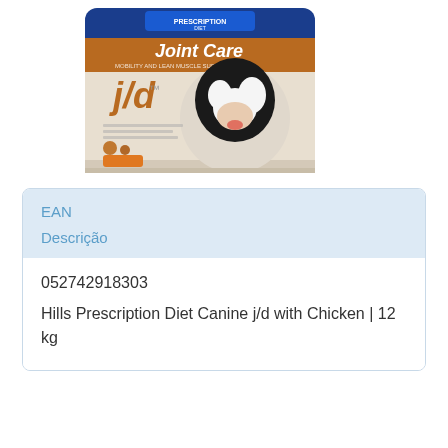[Figure (photo): Hill's Prescription Diet Joint Care j/d dry dog food bag with a black and white dog on the packaging]
| EAN | Descrição |
| --- | --- |
| 052742918303 | Hills Prescription Diet Canine j/d with Chicken | 12 kg |
[Figure (photo): Hill's Prescription Diet canned dog food (partial view at bottom of page)]